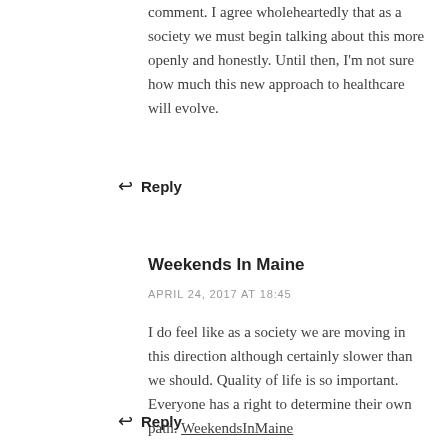comment. I agree wholeheartedly that as a society we must begin talking about this more openly and honestly. Until then, I'm not sure how much this new approach to healthcare will evolve.
↩ Reply
Weekends In Maine
APRIL 24, 2017 AT 18:45
I do feel like as a society we are moving in this direction although certainly slower than we should. Quality of life is so important. Everyone has a right to determine their own path. WeekendsInMaine
↩ Reply